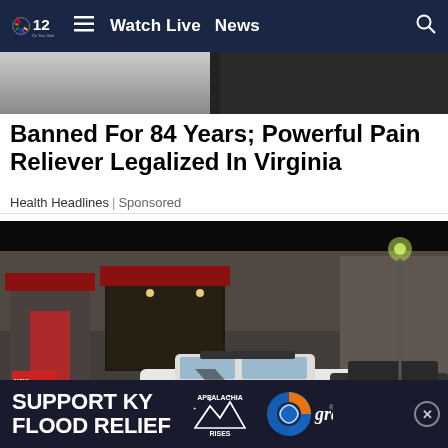NBC 12 — Watch Live  News
[Figure (photo): Partial top portion of an indoor/outdoor photo, cropped, showing dark background with light areas]
Banned For 84 Years; Powerful Pain Reliever Legalized In Virginia
Health Headlines | Sponsored
[Figure (photo): Nighttime photo of a restaurant (stone facade, red awnings) with a police car parked in front of the building in a parking lot]
SUPPORT KY FLOOD RELIEF — APPALACHIA RISES — gray